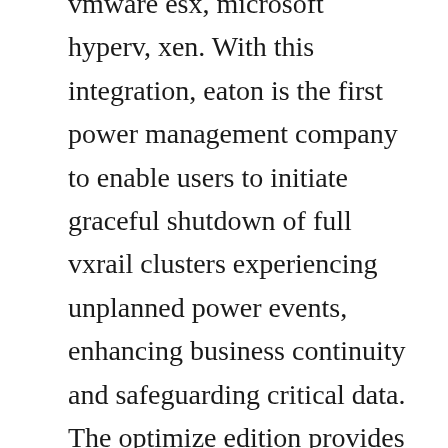vmware esx, microsoft hyperv, xen. With this integration, eaton is the first power management company to enable users to initiate graceful shutdown of full vxrail clusters experiencing unplanned power events, enhancing business continuity and safeguarding critical data. The optimize edition provides the most complete set of capabilities for implementing power management. Use each software independently or as a powerful combination. Intelligent power manager ipm offers two